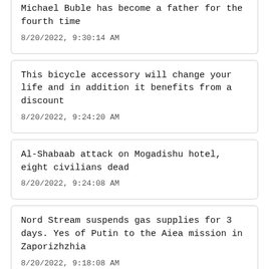Michael Buble has become a father for the fourth time
8/20/2022, 9:30:14 AM
This bicycle accessory will change your life and in addition it benefits from a discount
8/20/2022, 9:24:20 AM
Al-Shabaab attack on Mogadishu hotel, eight civilians dead
8/20/2022, 9:24:08 AM
Nord Stream suspends gas supplies for 3 days. Yes of Putin to the Aiea mission in Zaporizhzhia
8/20/2022, 9:18:08 AM